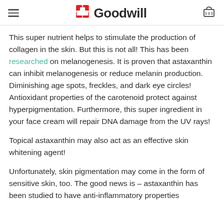Goodwill
This super nutrient helps to stimulate the production of collagen in the skin. But this is not all! This has been researched on melanogenesis. It is proven that astaxanthin can inhibit melanogenesis or reduce melanin production. Diminishing age spots, freckles, and dark eye circles! Antioxidant properties of the carotenoid protect against hyperpigmentation. Furthermore, this super ingredient in your face cream will repair DNA damage from the UV rays!
Topical astaxanthin may also act as an effective skin whitening agent!
Unfortunately, skin pigmentation may come in the form of sensitive skin, too. The good news is – astaxanthin has been studied to have anti-inflammatory properties...